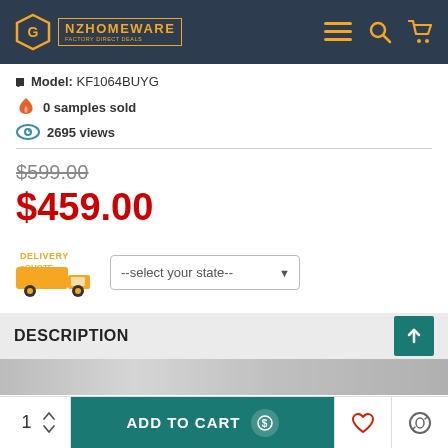NZ Homeware — navigation header with logo, menu, search, and cart icons
Model: KF1064BUYG
0 samples sold
2695 views
$599.00 (strikethrough original price)
$459.00 (sale price)
Delivery Quote — select your state
DESCRIPTION
[Figure (photo): Product image strip partially visible at bottom of description section]
1  ADD TO CART  [wishlist] [compare] — bottom action bar